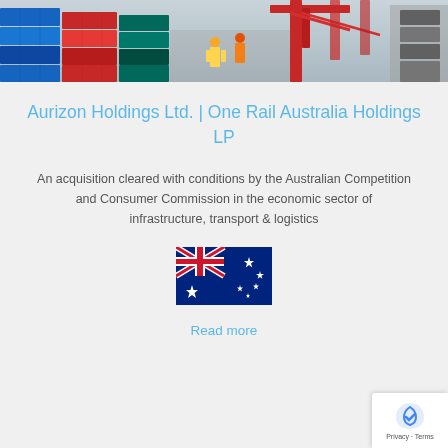[Figure (photo): Photo of workers in safety vests and helmets at a shipping container port with a large red crane in the background]
Aurizon Holdings Ltd. | One Rail Australia Holdings LP
An acquisition cleared with conditions by the Australian Competition and Consumer Commission in the economic sector of infrastructure, transport & logistics
[Figure (illustration): Australian flag]
Read more